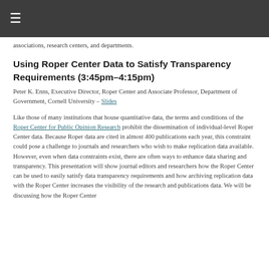≡
associations, research centers, and departments.
Using Roper Center Data to Satisfy Transparency Requirements (3:45pm–4:15pm)
Peter K. Enns, Executive Director, Roper Center and Associate Professor, Department of Government, Cornell University – Slides
Like those of many institutions that house quantitative data, the terms and conditions of the Roper Center for Public Opinion Research prohibit the dissemination of individual-level Roper Center data. Because Roper data are cited in almost 400 publications each year, this constraint could pose a challenge to journals and researchers who wish to make replication data available. However, even when data constraints exist, there are often ways to enhance data sharing and transparency. This presentation will show journal editors and researchers how the Roper Center can be used to easily satisfy data transparency requirements and how archiving replication data with the Roper Center increases the visibility of the research and publications data. We will be discussing how the Roper Center